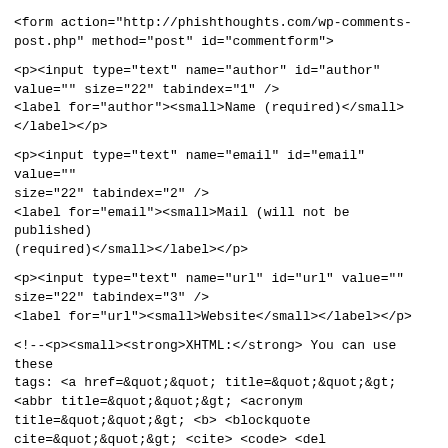<form action="http://phishthoughts.com/wp-comments-post.php" method="post" id="commentform">
<p><input type="text" name="author" id="author" value="" size="22" tabindex="1" />
<label for="author"><small>Name (required)</small></label></p>
<p><input type="text" name="email" id="email" value="" size="22" tabindex="2" />
<label for="email"><small>Mail (will not be published)(required)</small></label></p>
<p><input type="text" name="url" id="url" value="" size="22" tabindex="3" />
<label for="url"><small>Website</small></label></p>
<!--<p><small><strong>XHTML:</strong> You can use these tags: &lt;a href=&quot;&quot; title=&quot;&quot;&gt; &lt;abbr title=&quot;&quot;&gt; &lt;acronym title=&quot;&quot;&gt; &lt;b&gt; &lt;blockquote cite=&quot;&quot;&gt; &lt;cite&gt; &lt;code&gt; &lt;del datetime=&quot;&quot;&gt; &lt;em&gt; &lt;i&gt; &lt;q cite=&quot;&quot;&gt; &lt;s&gt; &lt;strike&gt; &lt;strong&gt; </small></p>-->
<p><textarea name="comment" id="comment" cols="100%"